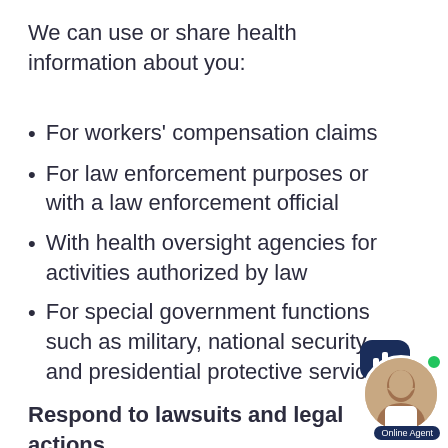We can use or share health information about you:
For workers' compensation claims
For law enforcement purposes or with a law enforcement official
With health oversight agencies for activities authorized by law
For special government functions such as military, national security, and presidential protective services
Respond to lawsuits and legal actions